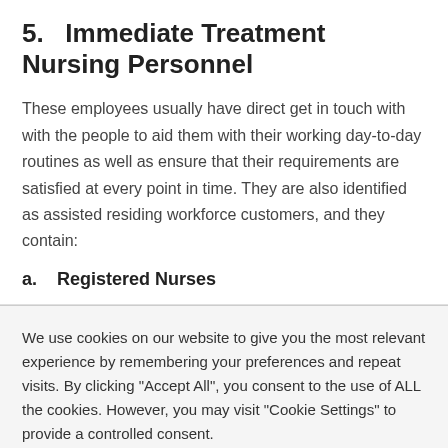5.   Immediate Treatment Nursing Personnel
These employees usually have direct get in touch with with the people to aid them with their working day-to-day routines as well as ensure that their requirements are satisfied at every point in time. They are also identified as assisted residing workforce customers, and they contain:
a.   Registered Nurses
We use cookies on our website to give you the most relevant experience by remembering your preferences and repeat visits. By clicking "Accept All", you consent to the use of ALL the cookies. However, you may visit "Cookie Settings" to provide a controlled consent.